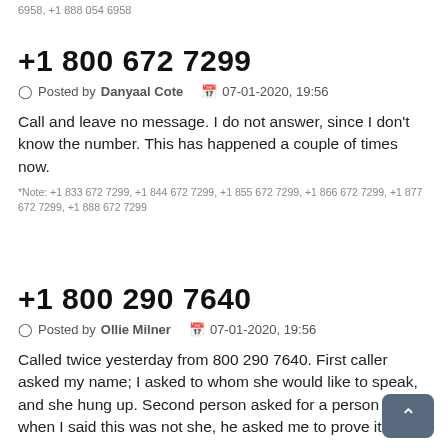6958, +1 888 054 6958
+1 800 672 7299
Posted by Danyaal Cote   07-01-2020, 19:56
Call and leave no message. I do not answer, since I don't know the number. This has happened a couple of times now.
*Note: +1 833 672 7299, +1 844 672 7299, +1 855 672 7299, +1 866 672 7299, +1 877 672 7299, +1 888 672 7299
+1 800 290 7640
Posted by Ollie Milner   07-01-2020, 19:56
Called twice yesterday from 800 290 7640. First caller asked my name; I asked to whom she would like to speak, and she hung up. Second person asked for a person and when I said this was not she, he asked me to prove it. Yeah,